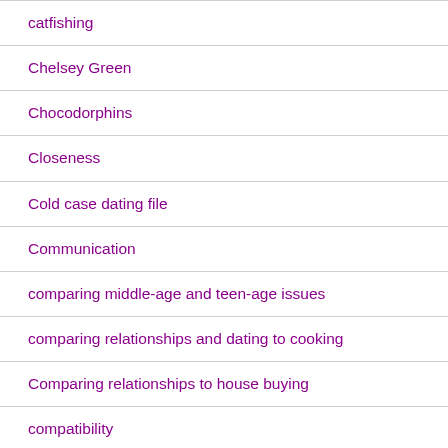catfishing
Chelsey Green
Chocodorphins
Closeness
Cold case dating file
Communication
comparing middle-age and teen-age issues
comparing relationships and dating to cooking
Comparing relationships to house buying
compatibility